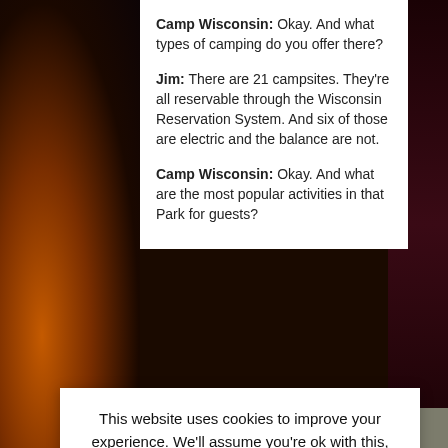Camp Wisconsin: Okay. And what types of camping do you offer there?
Jim: There are 21 campsites. They're all reservable through the Wisconsin Reservation System. And six of those are electric and the balance are not.
Camp Wisconsin: Okay. And what are the most popular activities in that Park for guests?
This website uses cookies to improve your experience. We'll assume you're ok with this, but you can opt-out if you wish.
Cookie settings   ACCEPT